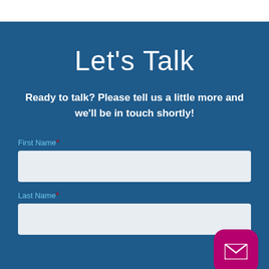Let's Talk
Ready to talk? Please tell us a little more and we'll be in touch shortly!
First Name *
Last Name *
[Figure (illustration): Pink/magenta rounded square button with envelope/mail icon in white, positioned bottom right]